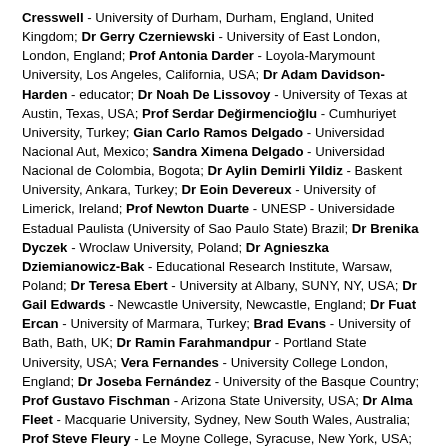Cresswell - University of Durham, Durham, England, United Kingdom; Dr Gerry Czerniewski - University of East London, London, England; Prof Antonia Darder - Loyola-Marymount University, Los Angeles, California, USA; Dr Adam Davidson-Harden - educator; Dr Noah De Lissovoy - University of Texas at Austin, Texas, USA; Prof Serdar Değirmencioğlu - Cumhuriyet University, Turkey; Gian Carlo Ramos Delgado - Universidad Nacional Aut, Mexico; Sandra Ximena Delgado - Universidad Nacional de Colombia, Bogota; Dr Aylin Demirli Yildiz - Baskent University, Ankara, Turkey; Dr Eoin Devereux - University of Limerick, Ireland; Prof Newton Duarte - UNESP - Universidade Estadual Paulista (University of Sao Paulo State) Brazil; Dr Brenika Dyczek - Wroclaw University, Poland; Dr Agnieszka Dziemianowicz-Bak - Educational Research Institute, Warsaw, Poland; Dr Teresa Ebert - University at Albany, SUNY, NY, USA; Dr Gail Edwards - Newcastle University, Newcastle, England; Dr Fuat Ercan - University of Marmara, Turkey; Brad Evans - University of Bath, Bath, UK; Dr Ramin Farahmandpur - Portland State University, USA; Vera Fernandes - University College London, England; Dr Joseba Fernández - University of the Basque Country; Prof Gustavo Fischman - Arizona State University, USA; Dr Alma Fleet - Macquarie University, Sydney, New South Wales, Australia; Prof Steve Fleury - Le Moyne College, Syracuse, New York, USA; Derek R. Ford - dePauw University, Chicago, USA; Dr Brandon Fox - Stephen F. Austin State University, Nacogdoches, Texas, USA; Dr Nathan Fretwell - Middlesex University, London, England; Miriam Furlan Brighente - Eastern Michigan University, Ypsilanti, Michigan, USA; Prof David Gabbard - Boise State University, Boise, Idaho, USA; Sandra Maria Gadelha de Carvalho - Universidade